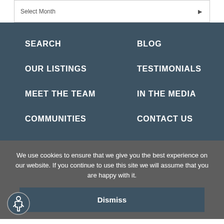Select Month
SEARCH
BLOG
OUR LISTINGS
TESTIMONIALS
MEET THE TEAM
IN THE MEDIA
COMMUNITIES
CONTACT US
We use cookies to ensure that we give you the best experience on our website. If you continue to use this site we will assume that you are happy with it.
Dismiss